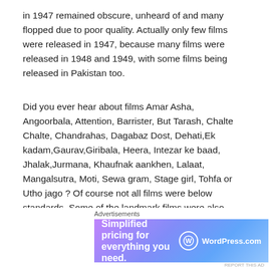in 1947 remained obscure, unheard of and many flopped due to poor quality. Actually only few films were released in 1947, because many films were released in 1948 and 1949, with some films being released in Pakistan too.
Did you ever hear about films Amar Asha, Angoorbala, Attention, Barrister, But Tarash, Chalte Chalte, Chandrahas, Dagabaz Dost, Dehati,Ek kadam,Gaurav,Giribala, Heera, Intezar ke baad, Jhalak,Jurmana, Khaufnak aankhen, Lalaat, Mangalsutra, Moti, Sewa gram, Stage girl, Tohfa or Utho jago ? Of course not all films were below standards. Some of the landmark films were also made in 1947, like Shehnai, Mirza Sahiban, Jugnu, saaian, Naatak, Moora, Elan Aan b
[Figure (other): WordPress.com advertisement banner with text 'Simplified pricing for everything you need.' and WordPress.com logo]